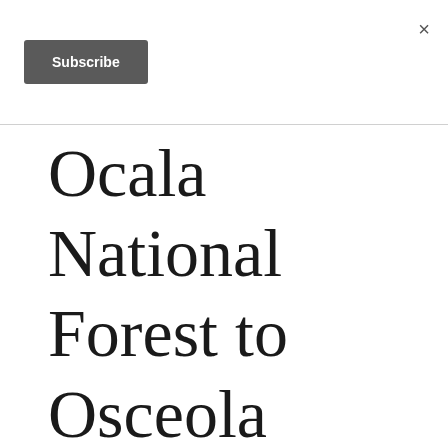×
Subscribe
Ocala National Forest to Osceola National Forest, Florida